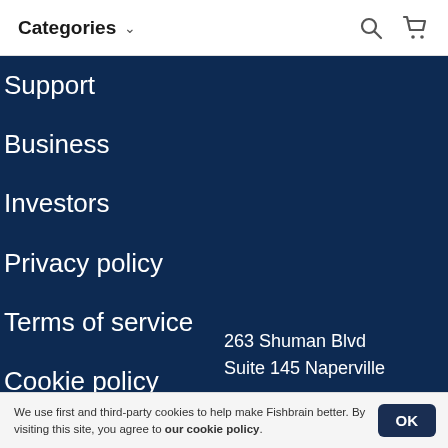Categories
Support
Business
Investors
Privacy policy
Terms of service
Cookie policy
Fishbrain Pro
Brands
Blog
263 Shuman Blvd
Suite 145 Naperville
We use first and third-party cookies to help make Fishbrain better. By visiting this site, you agree to our cookie policy.